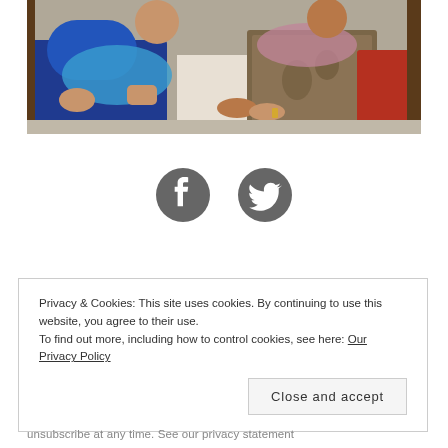[Figure (photo): Photo of two women sitting together; one in blue outfit with blue shawl, another in patterned dress with pink/mauve scarf, seated on colorful cushions]
[Figure (infographic): Social media icons: Facebook circle icon and Twitter bird icon, both in dark gray]
Privacy & Cookies: This site uses cookies. By continuing to use this website, you agree to their use.
To find out more, including how to control cookies, see here: Our Privacy Policy
Close and accept
unsubscribe at any time. See our privacy statement